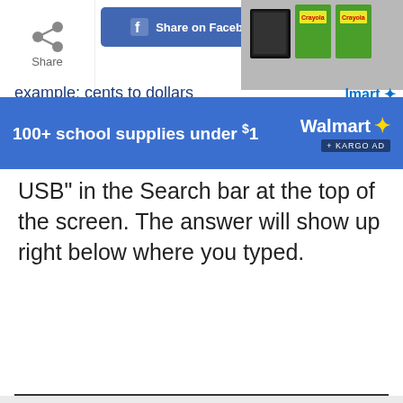[Figure (screenshot): Top bar with Share icon, Share on Facebook button, and photo of school supplies (crayons, notebooks)]
[Figure (screenshot): Walmart advertisement banner: '100+ school supplies under $1' with Walmart logo and snowflake icon, KARGO AD tag]
USB" in the Search bar at the top of the screen. The answer will show up right below where you typed.
ADVERTISEMENT